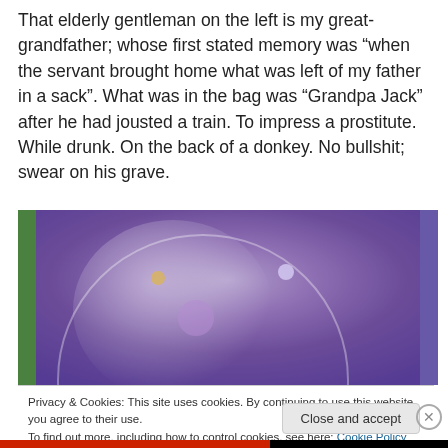That elderly gentleman on the left is my great-grandfather; whose first stated memory was “when the servant brought home what was left of my father in a sack”. What was in the bag was “Grandpa Jack” after he had jousted a train. To impress a prostitute. While drunk. On the back of a donkey. No bullshit; swear on his grave.
[Figure (photo): A purple-toned old photograph or gravestone image showing a circular arc design against a speckled dark background, with some light orbs and a green edge on the left.]
Privacy & Cookies: This site uses cookies. By continuing to use this website, you agree to their use.
To find out more, including how to control cookies, see here: Cookie Policy